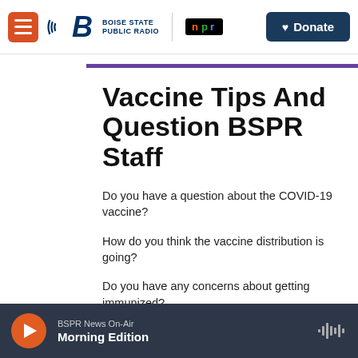Boise State Public Radio | NPR | Donate
Vaccine Tips And Questions For BSPR Staff
Do you have a question about the COVID-19 vaccine?
How do you think the vaccine distribution is going?
Do you have any concerns about getting immunized?
Would you like to share an observation or tip about how Idaho?
Boise State Public Radio reporters would love to hear fr
BSPR News On-Air | Morning Edition